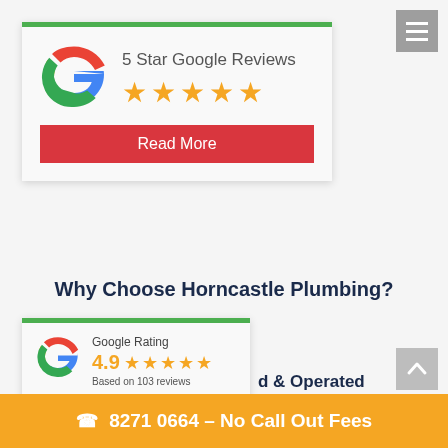[Figure (logo): 5 Star Google Reviews card with Google G logo, five orange stars, and a red Read More button]
Why Choose Horncastle Plumbing?
[Figure (logo): Google Rating widget: Google G logo, rating 4.9, five orange stars, Based on 103 reviews]
d & Operated
8271 0664 – No Call Out Fees